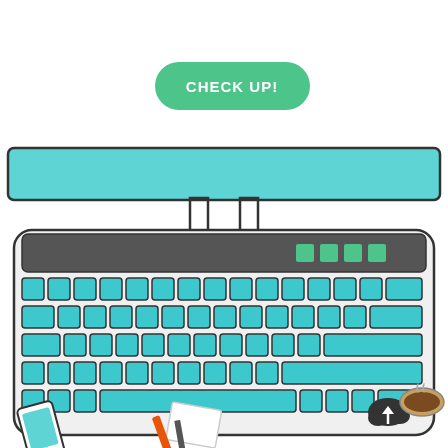[Figure (illustration): Top-down view illustration of a desktop computer setup with a monitor (teal/turquoise color), a keyboard with teal keys, a smartphone in the bottom-left corner, a pencil and paper in the bottom-center, and a cloud upload icon with a coffee cup in the bottom-right. A green rounded pill-shaped button labeled 'CHECK UP!' appears at the top center.]